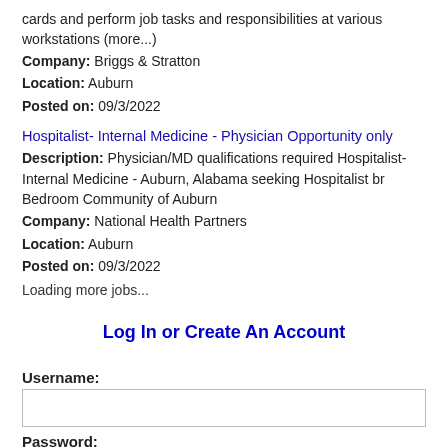cards and perform job tasks and responsibilities at various workstations (more...)
Company: Briggs & Stratton
Location: Auburn
Posted on: 09/3/2022
Hospitalist- Internal Medicine - Physician Opportunity only
Description: Physician/MD qualifications required Hospitalist- Internal Medicine - Auburn, Alabama seeking Hospitalist br Bedroom Community of Auburn
Company: National Health Partners
Location: Auburn
Posted on: 09/3/2022
Loading more jobs...
Log In or Create An Account
Username:
Password: